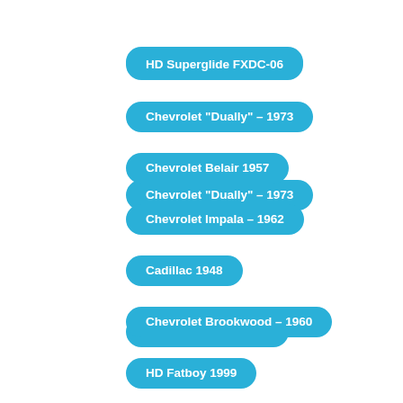HD Superglide FXDC-06
Chevrolet "Dually" – 1973
Chevrolet Belair 1957
Chevrolet Impala – 1962
Cadillac 1948
Chevrolet Brookwood – 1960
HD Fatboy 1999